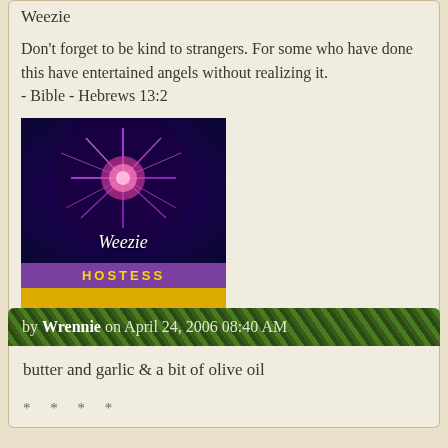Weezie
Don't forget to be kind to strangers. For some who have done this have entertained angels without realizing it.
- Bible - Hebrews 13:2
[Figure (illustration): Purple and pink fireworks avatar image with 'Weezie' text, followed by a purple 'Hostess' badge and yellow 'WOW!!!' badge]
http://photobucket.com/albums/y250/weezie13/
by Wrennie on April 24, 2006 08:40 AM
butter and garlic & a bit of olive oil
* * * *